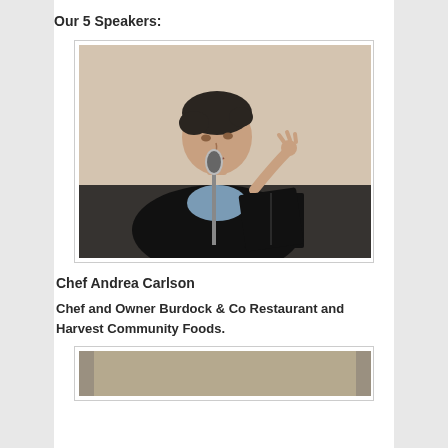Our 5 Speakers:
[Figure (photo): Woman speaking at a microphone, holding a black binder/book, wearing a black jacket and blue scarf, against a beige wall background.]
Chef Andrea Carlson
Chef and Owner Burdock & Co Restaurant and Harvest Community Foods.
[Figure (photo): Partial view of a second speaker photo, showing a blurred tan/brown background at the bottom of the page.]